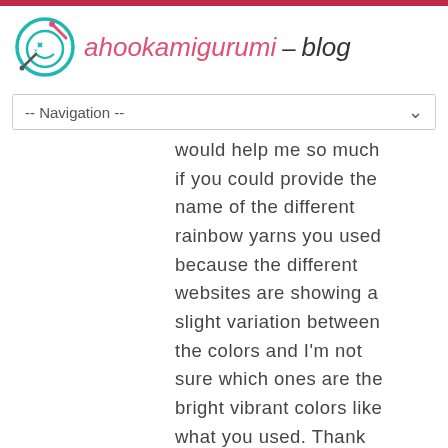ahookamigurumi – blog
-- Navigation --
would help me so much if you could provide the name of the different rainbow yarns you used because the different websites are showing a slight variation between the colors and I'm not sure which ones are the bright vibrant colors like what you used. Thank you so much for all that you do!